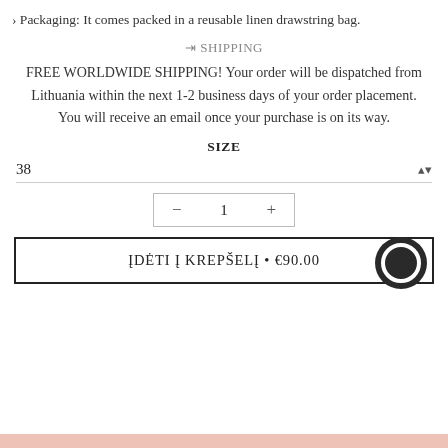› Packaging: It comes packed in a reusable linen drawstring bag.
⇥ SHIPPING
FREE WORLDWIDE SHIPPING! Your order will be dispatched from Lithuania within the next 1-2 business days of your order placement. You will receive an email once your purchase is on its way.
SIZE
38
- 1 +
ĮDĖTI Į KREPŠELĮ • €90.00